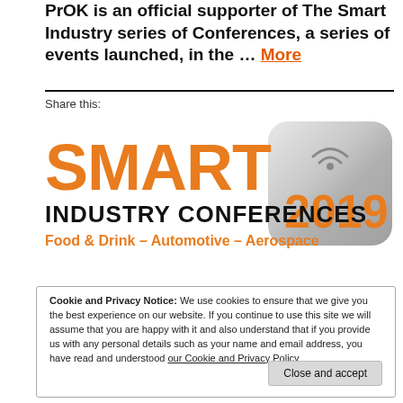PrOK is an official supporter of The Smart Industry series of Conferences, a series of events launched, in the … More
Share this:
[Figure (logo): Smart Industry Conferences 2019 logo with orange SMART text, black INDUSTRY CONFERENCES text, orange subtext Food & Drink – Automotive – Aerospace, and a silver metallic icon with 2019 in orange on the right]
Cookie and Privacy Notice: We use cookies to ensure that we give you the best experience on our website. If you continue to use this site we will assume that you are happy with it and also understand that if you provide us with any personal details such as your name and email address, you have read and understood our Cookie and Privacy Policy